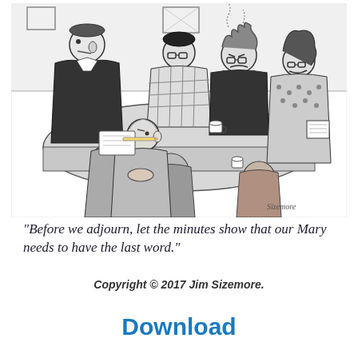[Figure (illustration): Black and white cartoon drawing of a business meeting scene. Multiple people are seated around a conference table. A tall man in a suit stands/sits at the left speaking. Other attendees include a person with glasses and a checkered shirt, a heavy-set woman with curly hair who appears to be smoking (steam coming from head), another woman with glasses on the right writing in a notepad, and several figures viewed from behind in the foreground. A coffee cup sits on the table. Artist signature 'Sizemore' visible in lower right of cartoon.]
“Before we adjourn, let the minutes show that our Mary needs to have the last word.”
Copyright © 2017 Jim Sizemore.
Download